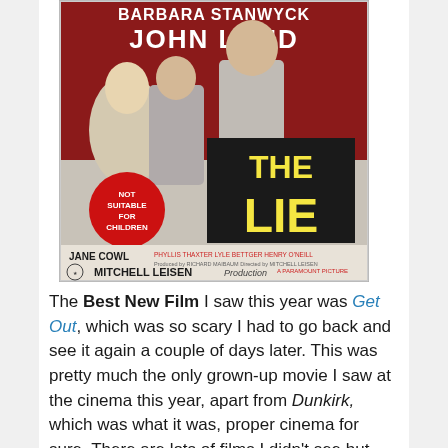[Figure (photo): Movie poster for 'The Lie' featuring Barbara Stanwyck and John Lund, with cast including Jane Cowl, Phyllis Thaxter, Lyle Bettger, Henry O'Neill. Directed by Mitchell Leisen. A Paramount Picture. Badge reads 'Not Suitable for Children'.]
The Best New Film I saw this year was Get Out, which was so scary I had to go back and see it again a couple of days later. This was pretty much the only grown-up movie I saw at the cinema this year, apart from Dunkirk, which was what it was, proper cinema for sure. There are lots of films I didn't see but wanted too.... I did see The Breakfast Club on the big screen for the first time